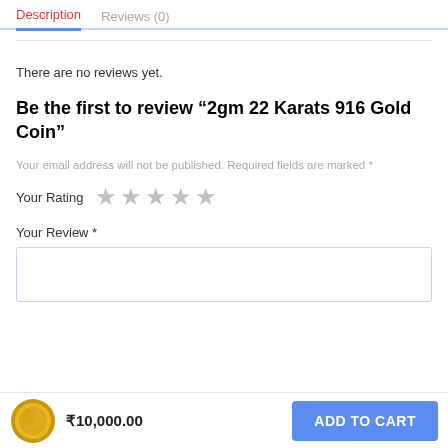Description   Reviews (0)
There are no reviews yet.
Be the first to review “2gm 22 Karats 916 Gold Coin”
Your email address will not be published. Required fields are marked *
Your Rating ★★★★★
Your Review *
₹10,000.00   ADD TO CART